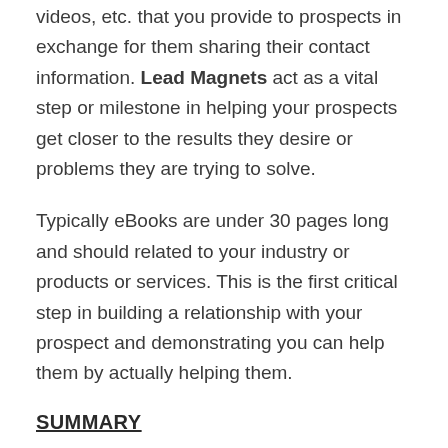videos, etc. that you provide to prospects in exchange for them sharing their contact information. Lead Magnets act as a vital step or milestone in helping your prospects get closer to the results they desire or problems they are trying to solve.
Typically eBooks are under 30 pages long and should related to your industry or products or services. This is the first critical step in building a relationship with your prospect and demonstrating you can help them by actually helping them.
SUMMARY
So if you would like to learn more about